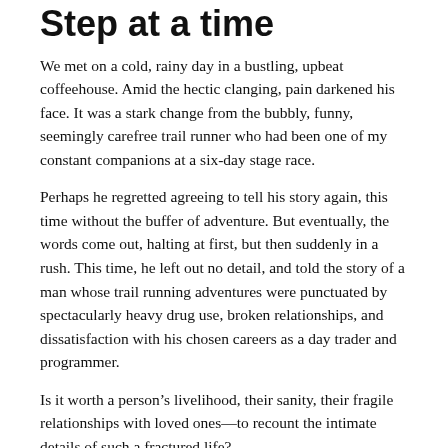Step at a time
We met on a cold, rainy day in a bustling, upbeat coffeehouse. Amid the hectic clanging, pain darkened his face. It was a stark change from the bubbly, funny, seemingly carefree trail runner who had been one of my constant companions at a six-day stage race.
Perhaps he regretted agreeing to tell his story again, this time without the buffer of adventure. But eventually, the words come out, halting at first, but then suddenly in a rush. This time, he left out no detail, and told the story of a man whose trail running adventures were punctuated by spectacularly heavy drug use, broken relationships, and dissatisfaction with his chosen careers as a day trader and programmer.
Is it worth a person’s livelihood, their sanity, their fragile relationships with loved ones—to recount the intimate details of such a fractured life?
Kris Cargile thinks so. Every opportunity he gets to tell his story, he continues to experience cathartic moments of clarity, of vision, of self-